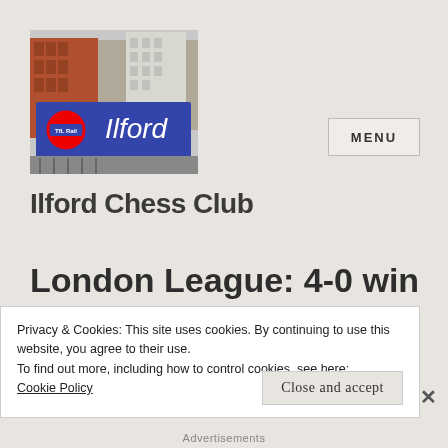[Figure (photo): Photo of Ilford train station sign with London Underground roundel and blue name board reading 'Ilford', with brick buildings in background]
MENU
Ilford Chess Club
London League: 4-0 win
Privacy & Cookies: This site uses cookies. By continuing to use this website, you agree to their use.
To find out more, including how to control cookies, see here:
Cookie Policy
Close and accept
Advertisements